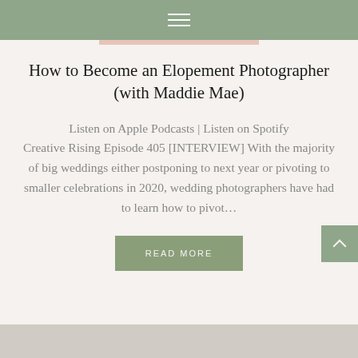Navigation bar with hamburger menu
How to Become an Elopement Photographer (with Maddie Mae)
Listen on Apple Podcasts | Listen on Spotify Creative Rising Episode 405 [INTERVIEW] With the majority of big weddings either postponing to next year or pivoting to smaller celebrations in 2020, wedding photographers have had to learn how to pivot…
READ MORE